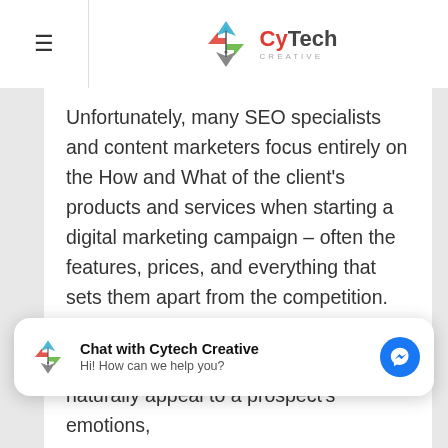[Figure (logo): CyTech Creative logo with geometric diamond/arrow icon in blue, red, and green, and the text 'CyTech' in red and gray, 'CREATIVE' in small gray letters below]
Unfortunately, many SEO specialists and content marketers focus entirely on the How and What of the client's products and services when starting a digital marketing campaign – often the features, prices, and everything that sets them apart from the competition. This is what traditional research data indicates a company's web presence needs for success; however, it neglects to address the emotional side of things by asking why first. The Hows and Whats are essential, but only as a rational counterpoint to the more emotional Why. A
[Figure (screenshot): Chat widget popup: 'Chat with Cytech Creative' with Messenger icon button, subtitle 'Hi! How can we help you?', CyTech logo on left]
naturally appeal to a prospect's emotions,